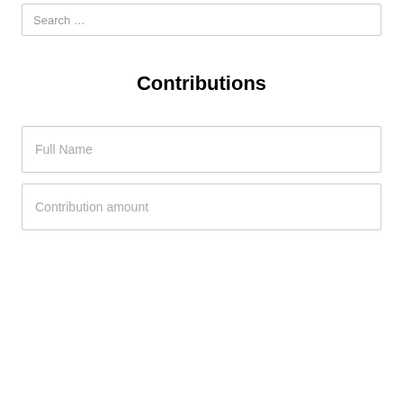Search …
Contributions
Full Name
Contribution amount